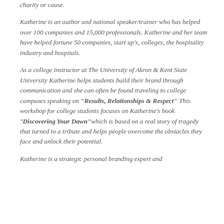charity or cause.
Katherine is an author and national speaker/trainer who has helped over 100 companies and 15,000 professionals. Katherine and her team have helped fortune 50 companies, start up's, colleges, the hospitality industry and hospitals.
As a college instructor at The University of Akron & Kent State University Katherine helps students build their brand through communication and she can often be found traveling to college campuses speaking on "Results, Relationships & Respect" This workshop for college students focuses on Katherine's book "Discovering Your Dawn"which is based on a real story of tragedy that turned to a tribute and helps people overcome the obstacles they face and unlock their potential.
Katherine is a strategic personal branding expert and